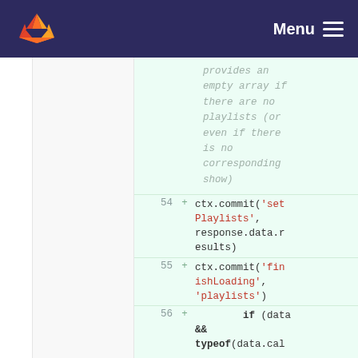Menu
provides an empty array if there are no playlists (or even if there is no corresponding show)
54 + ctx.commit('setPlaylists', response.data.results)
55 + ctx.commit('finishLoading', 'playlists')
56 +     if (data && typeof(data.cal